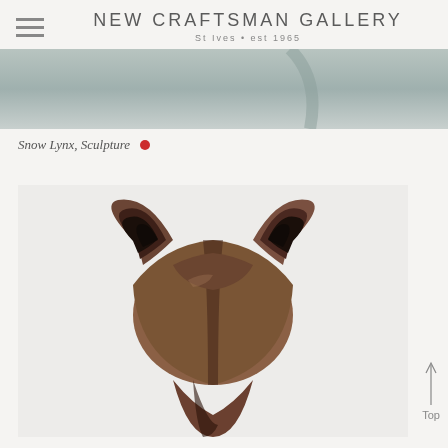NEW CRAFTSMAN GALLERY
St Ives • est 1965
[Figure (photo): Partial view of a Snow Lynx sculpture, showing the top/back of the animal against a grey-green background]
Snow Lynx, Sculpture •
[Figure (photo): Close-up top view of a Snow Lynx bronze sculpture showing the distinctive large pointy ears and top of head against a light grey background]
Top